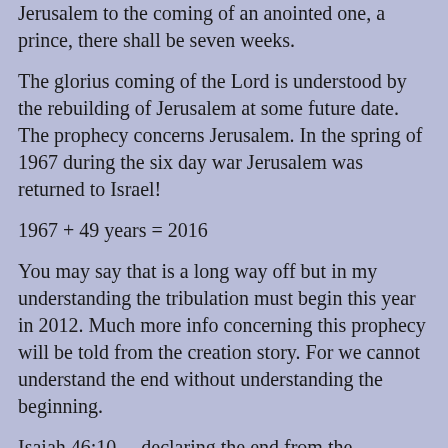Jerusalem to the coming of an anointed one, a prince, there shall be seven weeks.
The glorius coming of the Lord is understood by the rebuilding of Jerusalem at some future date. The prophecy concerns Jerusalem. In the spring of 1967 during the six day war Jerusalem was returned to Israel!
1967 + 49 years = 2016
You may say that is a long way off but in my understanding the tribulation must begin this year in 2012. Much more info concerning this prophecy will be told from the creation story. For we cannot understand the end without understanding the beginning.
Isaiah 46:10--- declaring the end from the beginning and from ancient times things not yet done